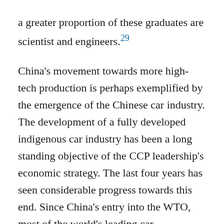a greater proportion of these graduates are scientist and engineers.29
China's movement towards more high-tech production is perhaps exemplified by the emergence of the Chinese car industry. The development of a fully developed indigenous car industry has been a long standing objective of the CCP leadership's economic strategy. The last four years has seen considerable progress towards this end. Since China's entry into the WTO, most of the world's leading car manufacturers have entered into joint ventures with Chinese corporations. As a result, car production, or at least car assembly, in China has expanded rapidly. In 2001 Chinese car production figures stood at one million a year; this had risen to five million in 2004, and is expected to pass ten million by the end of the decade.